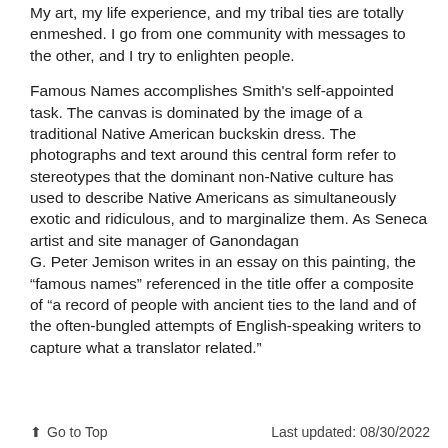My art, my life experience, and my tribal ties are totally enmeshed. I go from one community with messages to the other, and I try to enlighten people.
Famous Names accomplishes Smith's self-appointed task. The canvas is dominated by the image of a traditional Native American buckskin dress. The photographs and text around this central form refer to stereotypes that the dominant non-Native culture has used to describe Native Americans as simultaneously exotic and ridiculous, and to marginalize them. As Seneca artist and site manager of Ganondagan
G. Peter Jemison writes in an essay on this painting, the “famous names” referenced in the title offer a composite of “a record of people with ancient ties to the land and of the often-bungled attempts of English-speaking writers to capture what a translator related.”
↑ Go to Top    Last updated: 08/30/2022